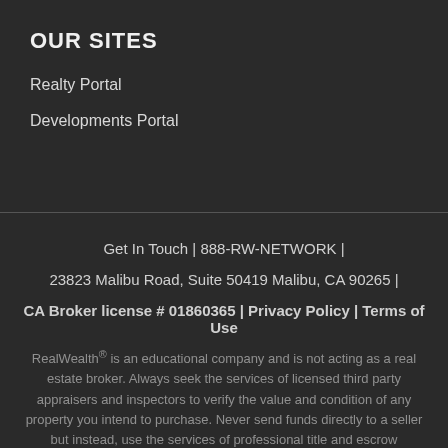OUR SITES
Realty Portal
Developments Portal
Get In Touch | 888-RW-NETWORK | 23823 Malibu Road, Suite 50419 Malibu, CA 90265 | CA Broker license # 01860365 | Privacy Policy | Terms of Use
RealWealth® is an educational company and is not acting as a real estate broker. Always seek the services of licensed third party appraisers and inspectors to verify the value and condition of any property you intend to purchase. Never send funds directly to a seller but instead, use the services of professional title and escrow companies. Check in with RealWealth® before purchasing property to verify that property teams and markets have